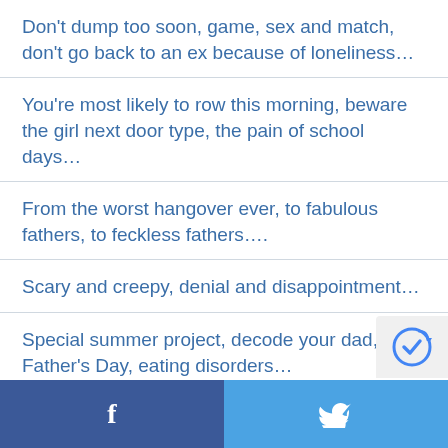Don't dump too soon, game, sex and match, don't go back to an ex because of loneliness…
You're most likely to row this morning, beware the girl next door type, the pain of school days…
From the worst hangover ever, to fabulous fathers, to feckless fathers….
Scary and creepy, denial and disappointment…
Special summer project, decode your dad, Father's Day, eating disorders…
Facebook | Twitter